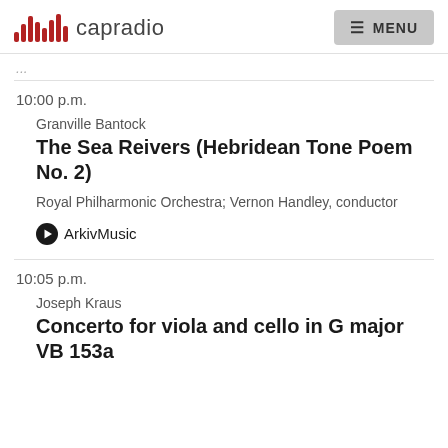capradio | MENU
10:00 p.m.
Granville Bantock
The Sea Reivers (Hebridean Tone Poem No. 2)
Royal Philharmonic Orchestra; Vernon Handley, conductor
ArkivMusic
10:05 p.m.
Joseph Kraus
Concerto for viola and cello in G major VB 153a